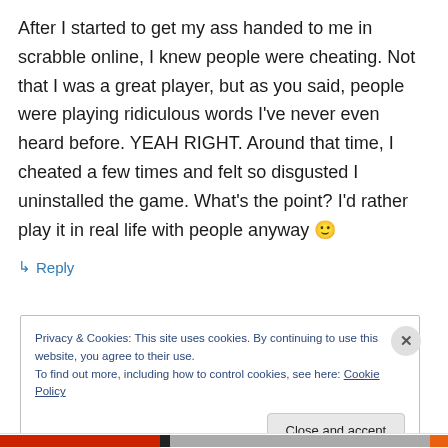After I started to get my ass handed to me in scrabble online, I knew people were cheating. Not that I was a great player, but as you said, people were playing ridiculous words I've never even heard before. YEAH RIGHT. Around that time, I cheated a few times and felt so disgusted I uninstalled the game. What's the point? I'd rather play it in real life with people anyway 🙂
↳ Reply
Privacy & Cookies: This site uses cookies. By continuing to use this website, you agree to their use. To find out more, including how to control cookies, see here: Cookie Policy